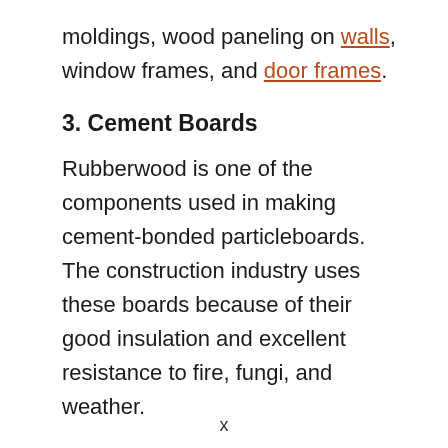moldings, wood paneling on walls, window frames, and door frames.
3. Cement Boards
Rubberwood is one of the components used in making cement-bonded particleboards. The construction industry uses these boards because of their good insulation and excellent resistance to fire, fungi, and weather.
4. Furniture
Rubberwood is also popular in building
x